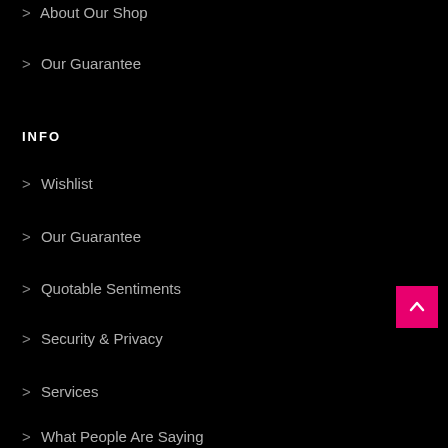> About Our Shop
> Our Guarantee
INFO
> Wishlist
> Our Guarantee
> Quotable Sentiments
> Security & Privacy
> Services
> What People Are Saying